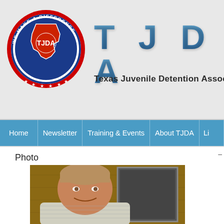[Figure (logo): TJDA circular logo with Texas state outline, red/white/blue colors, stars, and 'We Make A Difference' text around the border]
T J D A
Texas Juvenile Detention Association
Home | Newsletter | Training & Events | About TJDA | Li...
Photo
[Figure (photo): Portrait photo of a middle-aged man with light brown hair, smiling, wearing a striped shirt, photographed in front of a framed picture with wood paneling in background]